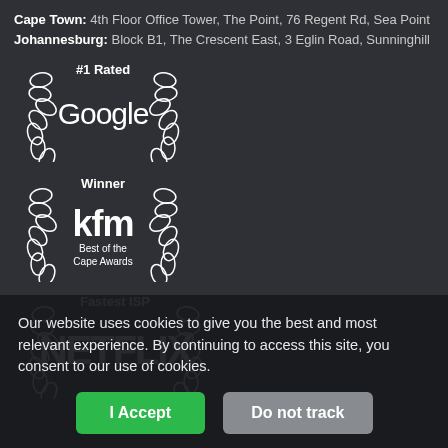Cape Town: 4th Floor Office Tower, The Point, 76 Regent Rd, Sea Point
Johannesburg: Block B1, The Crescent East, 3 Eglin Road, Sunninghill
[Figure (logo): #1 Rated Google award badge with laurel wreath]
[Figure (logo): Winner kfm Best of the Cape Awards badge with laurel wreath]
[Figure (logo): Fastest ISP NETFLIX badge with laurel wreath]
Our website uses cookies to give you the best and most relevant experience. By continuing to access this site, you consent to our use of cookies.
I Accept
Do not track